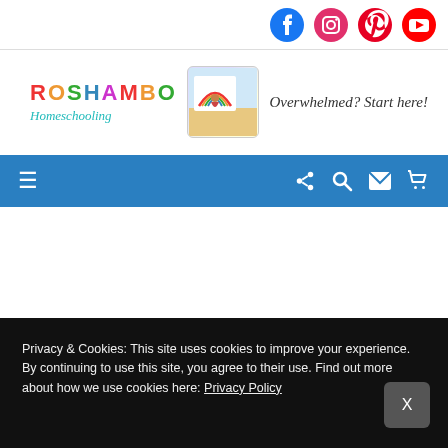[Figure (logo): Social media icons: Facebook, Instagram, Pinterest, YouTube]
[Figure (logo): Roshambo Homeschooling logo with colorful text and child with rainbow image]
Overwhelmed? Start here!
[Figure (infographic): Blue navigation bar with hamburger menu, share, search, email, and cart icons]
Privacy & Cookies: This site uses cookies to improve your experience. By continuing to use this site, you agree to their use. Find out more about how we use cookies here: Privacy Policy